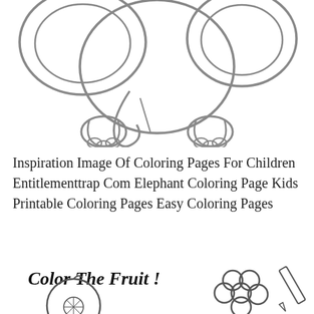[Figure (illustration): A simple black-and-white line drawing of a baby elephant sitting down, partially cropped at the top. The elephant has large round ears, a curled trunk, and stubby legs with round feet.]
Inspiration Image Of Coloring Pages For Children Entitlementtrap Com Elephant Coloring Page Kids Printable Coloring Pages Easy Coloring Pages
[Figure (illustration): A coloring page illustration showing 'Color The Fruit!' in bold italic text, with a partially visible round fruit (orange or similar) on the left with a decorative design, and a bunch of grapes with a pencil on the right, all in black-and-white line art style.]